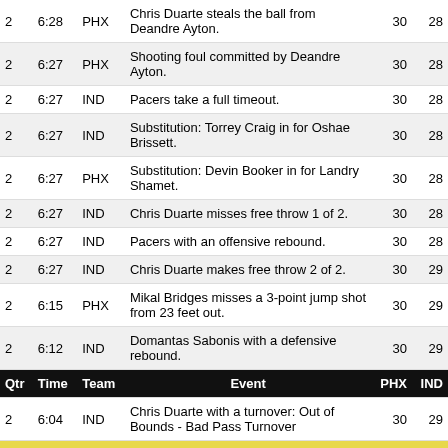| Qtr | Time | Team | Event | PHX | IND |
| --- | --- | --- | --- | --- | --- |
| 2 | 6:28 | PHX | Chris Duarte steals the ball from Deandre Ayton. | 30 | 28 |
| 2 | 6:27 | PHX | Shooting foul committed by Deandre Ayton. | 30 | 28 |
| 2 | 6:27 | IND | Pacers take a full timeout. | 30 | 28 |
| 2 | 6:27 | IND | Substitution: Torrey Craig in for Oshae Brissett. | 30 | 28 |
| 2 | 6:27 | PHX | Substitution: Devin Booker in for Landry Shamet. | 30 | 28 |
| 2 | 6:27 | IND | Chris Duarte misses free throw 1 of 2. | 30 | 28 |
| 2 | 6:27 | IND | Pacers with an offensive rebound. | 30 | 28 |
| 2 | 6:27 | IND | Chris Duarte makes free throw 2 of 2. | 30 | 29 |
| 2 | 6:15 | PHX | Mikal Bridges misses a 3-point jump shot from 23 feet out. | 30 | 29 |
| 2 | 6:12 | IND | Domantas Sabonis with a defensive rebound. | 30 | 29 |
| 2 | 6:04 | IND | Chris Duarte with a turnover: Out of Bounds - Bad Pass Turnover | 30 | 29 |
[Figure (other): Advertisement banner: Eat Voraciously - Sign up for the newsletter. Get one quick recipe in your inbox every Monday through Thursday.]